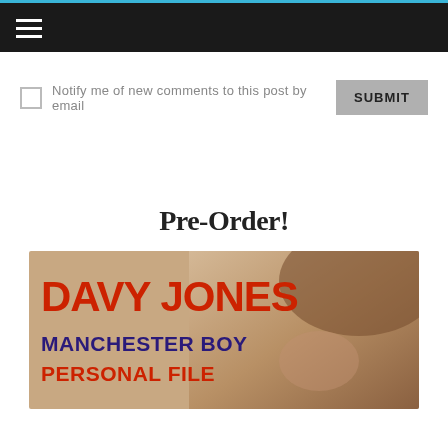Navigation bar with hamburger menu
Notify me of new comments to this post by email
Pre-Order!
[Figure (illustration): Book cover image for 'Davy Jones: Manchester Boy Personal File' showing large red distressed text 'DAVY JONES' at the top, blue bold text 'MANCHESTER BOY' and red bold text 'PERSONAL FILE' below, with a sepia-toned photo of Davy Jones on the right side.]